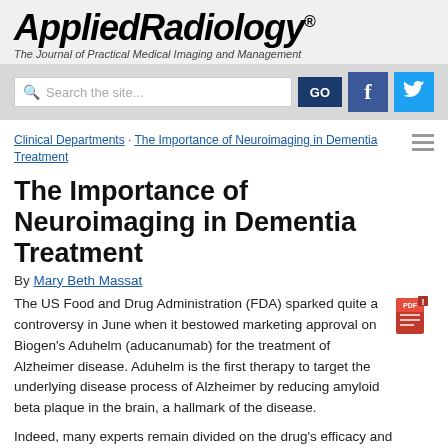[Figure (logo): AppliedRadiology logo with registration mark, italic serif bold font]
The Journal of Practical Medical Imaging and Management
[Figure (screenshot): Search bar with GO button, Facebook icon, Twitter icon]
Clinical Departments · The Importance of Neuroimaging in Dementia Treatment
The Importance of Neuroimaging in Dementia Treatment
By Mary Beth Massat
The US Food and Drug Administration (FDA) sparked quite a controversy in June when it bestowed marketing approval on Biogen's Aduhelm (aducanumab) for the treatment of Alzheimer disease. Aduhelm is the first therapy to target the underlying disease process of Alzheimer by reducing amyloid beta plaque in the brain, a hallmark of the disease.
Indeed, many experts remain divided on the drug's efficacy and disagree over